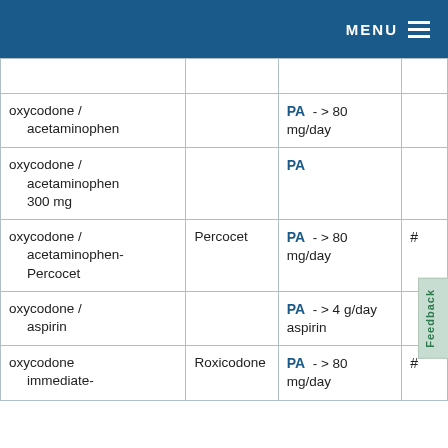MENU
| oxycodone / acetaminophen |  | PA -> 80 mg/day |  |
| oxycodone / acetaminophen 300 mg |  | PA |  |
| oxycodone / acetaminophen-Percocet | Percocet | PA -> 80 mg/day | # |
| oxycodone / aspirin |  | PA -> 4 g/day aspirin |  |
| oxycodone immediate- | Roxicodone | PA -> 80 mg/day | # |